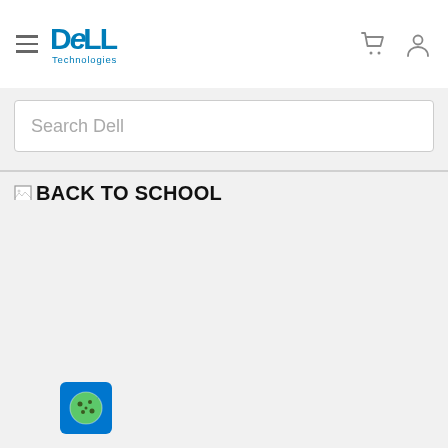Dell Technologies header with hamburger menu, Dell Technologies logo, cart icon, and user icon
Search Dell
BACK TO SCHOOL
[Figure (logo): Cookie consent icon — blue square with a cookie/face graphic]